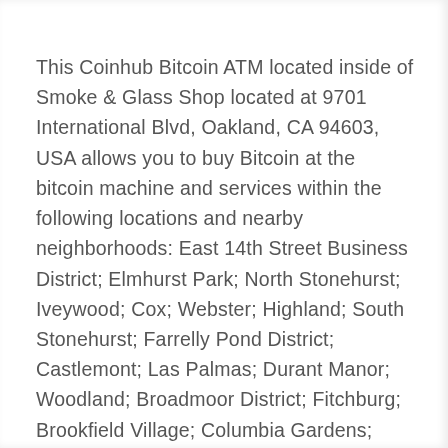This Coinhub Bitcoin ATM located inside of Smoke & Glass Shop located at 9701 International Blvd, Oakland, CA 94603, USA allows you to buy Bitcoin at the bitcoin machine and services within the following locations and nearby neighborhoods: East 14th Street Business District; Elmhurst Park; North Stonehurst; Iveywood; Cox; Webster; Highland; South Stonehurst; Farrelly Pond District; Castlemont; Las Palmas; Durant Manor; Woodland; Broadmoor District; Fitchburg; Brookfield Village; Columbia Gardens; Davis Tract; Old San Leandro; Oak Knoll Golf links; Toler Heights; Sobrante Park; Sequoyah; Foothill Square; Arroyo Viejo; Eastmont; Chabot Park; Estudillo Estates-Glen; Coliseum; Eastmont Hills; Havenscourt; Hegenberger; Seminary; Millsmont; Bancroft Business; Frick; Sheffield Village; Lockwood-Tevis; Assumption Parish; Caballo Hills; Mullford Gardens; Laqua Manor; Fairfax